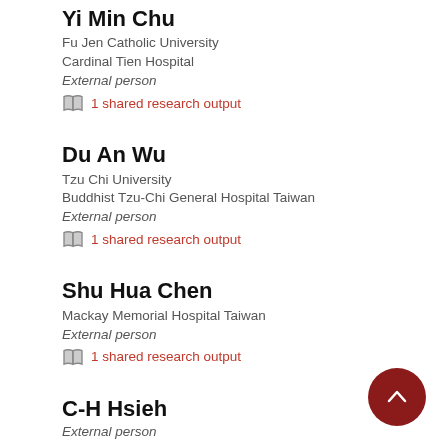Yi Min Chu
Fu Jen Catholic University
Cardinal Tien Hospital
External person
1 shared research output
Du An Wu
Tzu Chi University
Buddhist Tzu-Chi General Hospital Taiwan
External person
1 shared research output
Shu Hua Chen
Mackay Memorial Hospital Taiwan
External person
1 shared research output
C-H Hsieh
External person